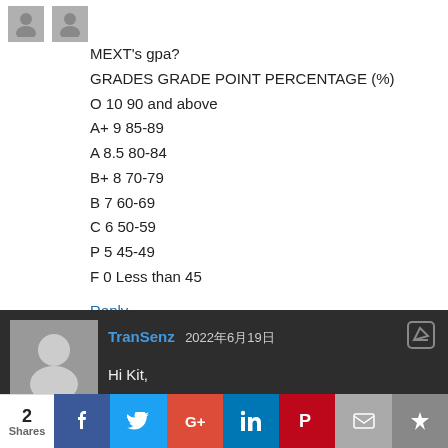MEXT's gpa?
GRADES GRADE POINT PERCENTAGE (%)
O 10 90 and above
A+ 9 85-89
A 8.5 80-84
B+ 8 70-79
B 7 60-69
C 6 50-59
P 5 45-49
F 0 Less than 45
Reply
TranSenz 2022年6月19日
Hi Kit,
6-bucket systems are always a little bit of a challenge to figure